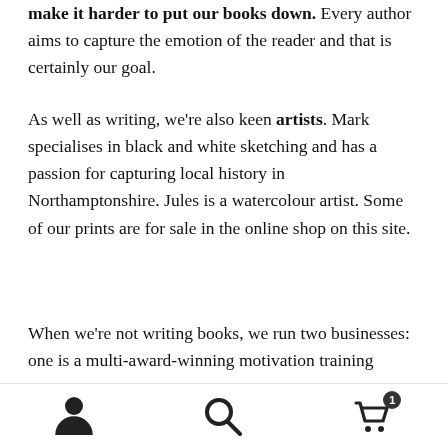make it harder to put our books down. Every author aims to capture the emotion of the reader and that is certainly our goal.
As well as writing, we're also keen artists. Mark specialises in black and white sketching and has a passion for capturing local history in Northamptonshire. Jules is a watercolour artist. Some of our prints are for sale in the online shop on this site.
When we're not writing books, we run two businesses: one is a multi-award-winning motivation training company
Welcome to Kennedy Authors
Dismiss
[Figure (infographic): Bottom navigation bar with three icons: user/person icon, search/magnifying glass icon, and shopping cart icon with badge showing '1']